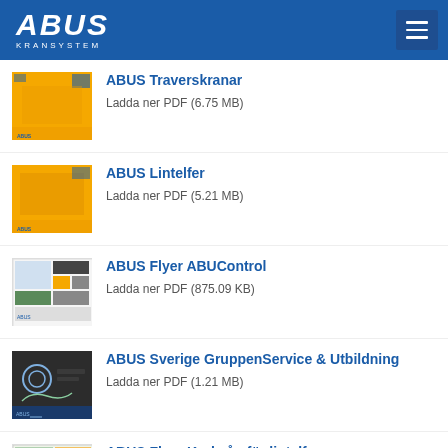ABUS KRANSYSTEM
ABUS Traverskranar — Ladda ner PDF (6.75 MB)
ABUS Lintelfer — Ladda ner PDF (5.21 MB)
ABUS Flyer ABUControl — Ladda ner PDF (875.09 KB)
ABUS Sverige GruppenService & Utbildning — Ladda ner PDF (1.21 MB)
ABUS Flyer Krokvåg för lintelfer